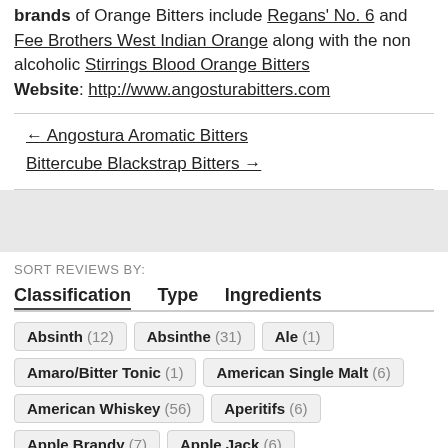brands of Orange Bitters include Regans' No. 6 and Fee Brothers West Indian Orange along with the non alcoholic Stirrings Blood Orange Bitters Website: http://www.angosturabitters.com
← Angostura Aromatic Bitters
Bittercube Blackstrap Bitters →
SORT REVIEWS BY:
| Classification | Type | Ingredients |
| --- | --- | --- |
Absinth (12)
Absinthe (31)
Ale (1)
Amaro/Bitter Tonic (1)
American Single Malt (6)
American Whiskey (56)
Aperitifs (6)
Apple Brandy (7)
Apple Jack (6)
Apple Vinegar (0)
Aquavit (4)
Armagnac (2)
Bar Tools (58)